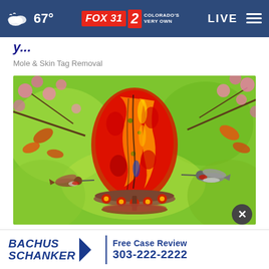67° FOX 31 2 COLORADO'S VERY OWN LIVE
y...
Mole & Skin Tag Removal
[Figure (photo): Colorful glass hummingbird feeder with red, orange, yellow and green swirled pattern, surrounded by pink flowering branches and green foliage, with two hummingbirds approaching from either side]
The Secret Revealed: Why All Hummingbirds Go To M...
Sursell
BACHUS SCHANKER | Free Case Review 303-222-2222